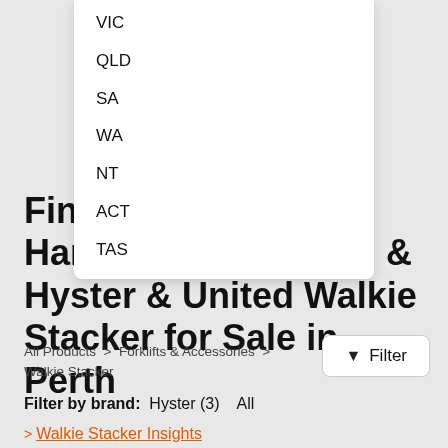VIC
QLD
SA
WA
NT
ACT
TAS
Find a Noblelift & Hangcha & Komatsu & Hyster & United Walkie Stacker for Sale in Perth
All Products > Forklifts & Accessories > Walkie Stacker
Filter by brand: Hyster (3)  All
> Walkie Stacker Insights